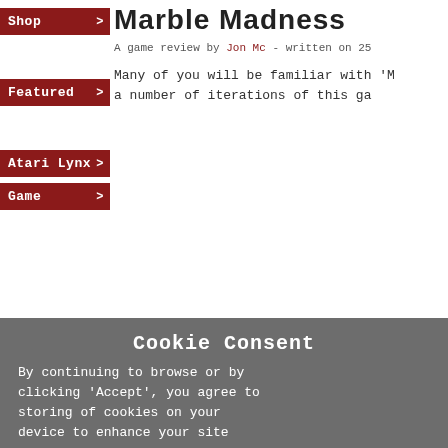Marble Madness
A game review by Jon Mc - written on 25
Many of you will be familiar with 'M a number of iterations of this ga
Shop
Featured
Atari Lynx
Game
Cookie Consent
By continuing to browse or by clicking 'Accept', you agree to storing of cookies on your device to enhance your site experience and for analytical purposes. To learn more about how we use cookies, please see our privacy policy.
Accept and Close